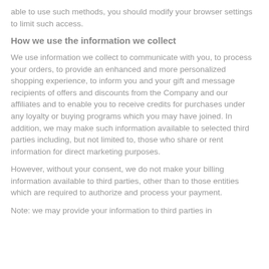able to use such methods, you should modify your browser settings to limit such access.
How we use the information we collect
We use information we collect to communicate with you, to process your orders, to provide an enhanced and more personalized shopping experience, to inform you and your gift and message recipients of offers and discounts from the Company and our affiliates and to enable you to receive credits for purchases under any loyalty or buying programs which you may have joined. In addition, we may make such information available to selected third parties including, but not limited to, those who share or rent information for direct marketing purposes.
However, without your consent, we do not make your billing information available to third parties, other than to those entities which are required to authorize and process your payment.
Note: we may provide your information to third parties in